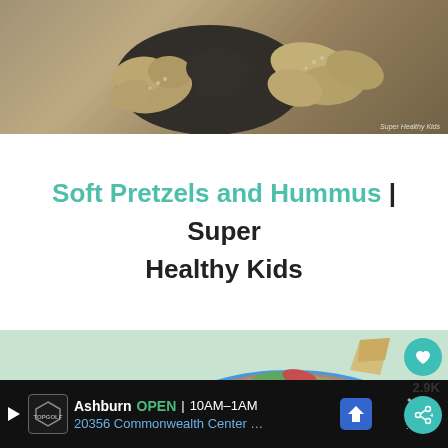[Figure (photo): Photo of soft pretzel bites shaped like turtles/animals with sesame seeds on a dark plate, with a dipping sauce, on a dark background. Watermark reads 'Super Healthy Kids' in bottom right.]
Soft Pretzels and Hummus | Super Healthy Kids
[Figure (photo): Photo of a blue bowl filled with bean dip topped with chopped vegetables (lettuce, tomato), with a tortilla chip, on a light green background. Heart/like button showing 2.9K and a share button overlay on the right side.]
Ashburn OPEN 10AM–1AM 20356 Commonwealth Center …